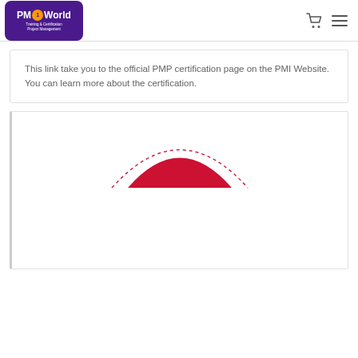PM1World - Training & Certification Project Management
This link take you to the official PMP certification page on the PMI Website. You can learn more about the certification.
[Figure (logo): PMI logo — red semicircle/dome shape with a dashed arc above it, partially visible at top of a white card]